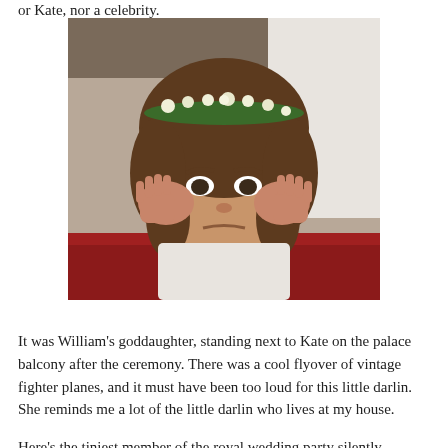or Kate, nor a celebrity.
[Figure (photo): A young girl with curly brown hair wearing a floral crown of white flowers and green leaves, pressing both hands against her ears with a scowling/disgruntled expression. She is wearing a white dress and is standing in front of a red surface with a white curtain behind her.]
It was William's goddaughter, standing next to Kate on the palace balcony after the ceremony. There was a cool flyover of vintage fighter planes, and it must have been too loud for this little darlin. She reminds me a lot of the little darlin who lives at my house.
Here's the tiniest member of the royal wedding party silently protesting, while the newlyweds share a smooch in